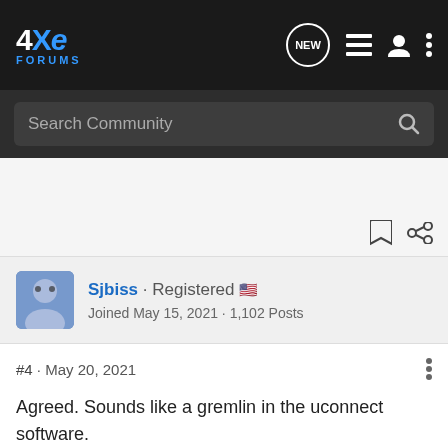4XE Forums
Search Community
Sjbiss · Registered
Joined May 15, 2021 · 1,102 Posts
#4 · May 20, 2021
Agreed. Sounds like a gremlin in the uconnect software.